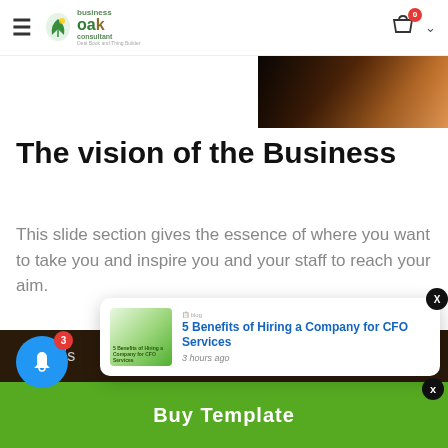Oak Business Consultant — navigation header with cart icon (0 items)
[Figure (photo): Dark warm-toned photo strip in upper right corner]
The vision of the Business
This slide section gives the essence of where you want to take you and inspire you and your staff to reach your aim.
[Figure (screenshot): Slide preview showing 'VISION OF THE BUSINESS' heading with body text and camera placeholder icon]
[Figure (photo): Warm sunlit photo in lower right area]
Get this
Buy Template
[Figure (screenshot): Popup notification: 5 Benefits of Hiring a Company for CFO Services, 3 hours ago]